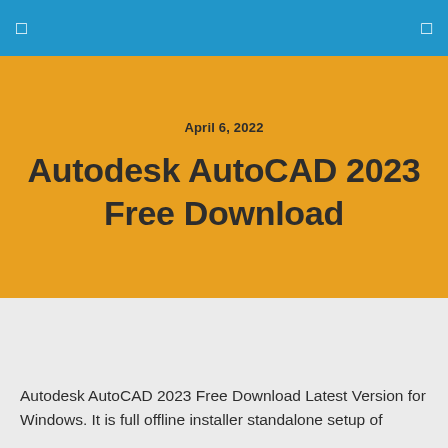☰  ☰
April 6, 2022
Autodesk AutoCAD 2023 Free Download
Autodesk AutoCAD 2023 Free Download Latest Version for Windows. It is full offline installer standalone setup of